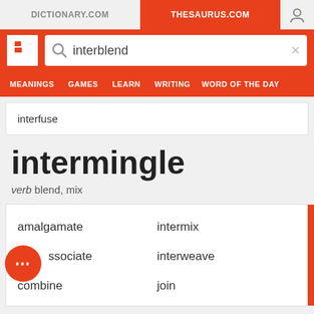DICTIONARY.COM | THESAURUS.COM
interblend (search box)
MEANINGS  GAMES  LEARN  WRITING  WORD OF THE DAY
interfuse
intermingle
verb blend, mix
amalgamate
intermix
associate
interweave
combine
join